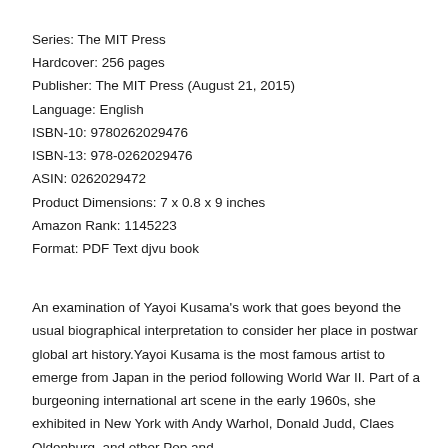Series: The MIT Press
Hardcover: 256 pages
Publisher: The MIT Press (August 21, 2015)
Language: English
ISBN-10: 9780262029476
ISBN-13: 978-0262029476
ASIN: 0262029472
Product Dimensions: 7 x 0.8 x 9 inches
Amazon Rank: 1145223
Format: PDF Text djvu book
An examination of Yayoi Kusama's work that goes beyond the usual biographical interpretation to consider her place in postwar global art history.Yayoi Kusama is the most famous artist to emerge from Japan in the period following World War II. Part of a burgeoning international art scene in the early 1960s, she exhibited in New York with Andy Warhol, Donald Judd, Claes Oldenburg, and other Pop and